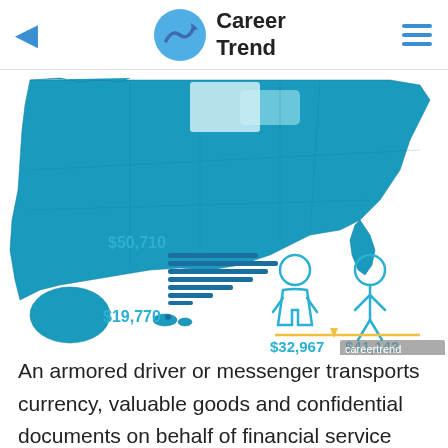Career Trend
[Figure (infographic): US map infographic showing salary data for armored drivers. Left side shows salary range $19,770 to $50,710 with horizontal bars. Right side shows male and female icons with salaries $32,967 (female) and $41,142 (male). Watermark: careertrend.]
An armored driver or messenger transports currency, valuable goods and confidential documents on behalf of financial service institutions, retailers and government agencies. Within most organizations, these are separate roles